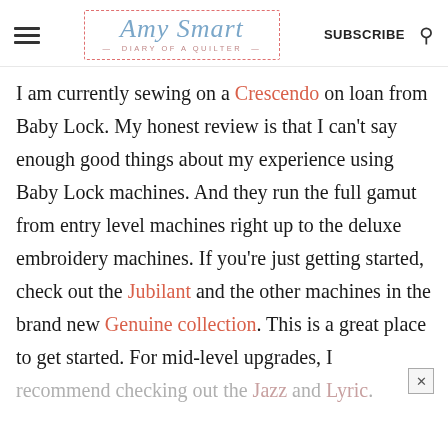Amy Smart — DIARY of a QUILTER — SUBSCRIBE
I am currently sewing on a Crescendo on loan from Baby Lock. My honest review is that I can't say enough good things about my experience using Baby Lock machines. And they run the full gamut from entry level machines right up to the deluxe embroidery machines. If you're just getting started, check out the Jubilant and the other machines in the brand new Genuine collection. This is a great place to get started. For mid-level upgrades, I recommend checking out the Jazz and Lyric.